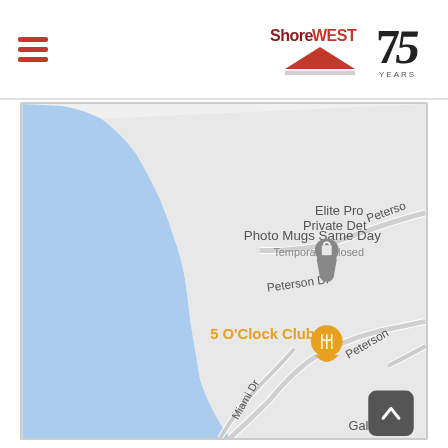ShoreWEST 75 YEARS
[Figure (map): Google Maps screenshot showing a coastal area with a lake (blue) on the left and land (grey/white) on the right. Labels visible: 'Elite Pro Private Det' (top right), 'Photo Mugs Same Day - Temporarily closed' (center-top with a shopping bag pin), 'Peterson Dr' (center), '5 O'Clock Club' (center with an orange food pin), 'Peterson' (lower right), 'Miami Dr' (bottom center), 'Galilee' (bottom right). A scroll-to-top button appears in the bottom right corner.]